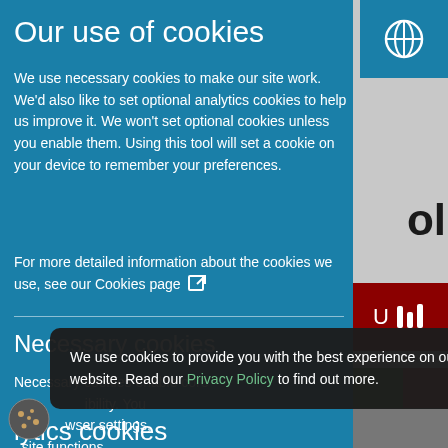Our use of cookies
We use necessary cookies to make our site work. We'd also like to set optional analytics cookies to help us improve it. We won't set optional cookies unless you enable them. Using this tool will set a cookie on your device to remember your preferences.
For more detailed information about the cookies we use, see our Cookies page
Necessary cookies
Necessary cookies enable core functionality such as and accessibility. You your browser settings, osite functions.
We use cookies to provide you with the best experience on our website. Read our Privacy Policy to find out more.
lytics cookies